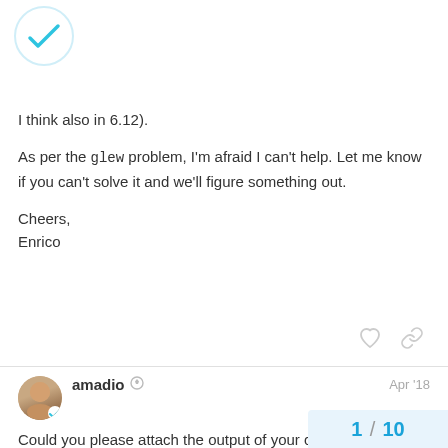[Figure (logo): Forum logo with teal checkmark in a circle]
I think also in 6.12).
As per the glew problem, I'm afraid I can't help. Let me know if you can't solve it and we'll figure something out.
Cheers,
Enrico
amadio  Apr '18
Could you please attach the output of your cmake call, and maybe the file CMakeCache.txt it generates? I will debug what the problem is with builtin_glew. We should fail in case GLU is not found at configuration time.
1 / 10